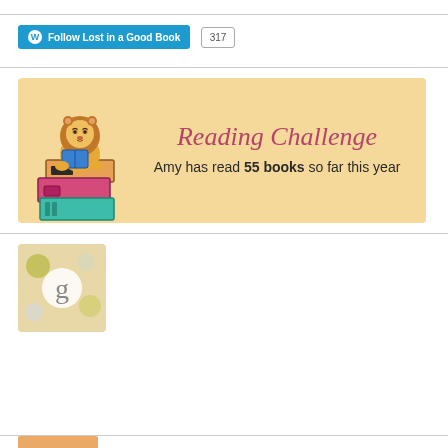[Figure (screenshot): WordPress Follow button for 'Lost in a Good Book' with follower count 317]
[Figure (illustration): Reading Challenge banner with lion and stacked books illustration. Text reads: 'Reading Challenge — Amy has read 55 books so far this year']
[Figure (logo): Goodreads widget icon showing a lowercase 'g' on a beige background with decorative circles]